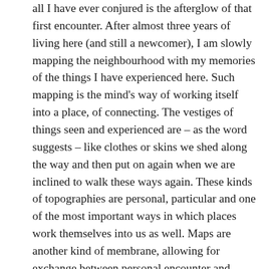all I have ever conjured is the afterglow of that first encounter. After almost three years of living here (and still a newcomer), I am slowly mapping the neighbourhood with my memories of the things I have experienced here. Such mapping is the mind's way of working itself into a place, of connecting. The vestiges of things seen and experienced are – as the word suggests – like clothes or skins we shed along the way and then put on again when we are inclined to walk these ways again. These kinds of topographies are personal, particular and one of the most important ways in which places work themselves into us as well. Maps are another kind of membrane, allowing for exchange between personal encounter and memory and place. There are vestiges of myself left forever in the wild, as long as memory and place co-exist.
Wetchered, that is to say wet through after rain, I return to my own front door unburdened like the sky of its